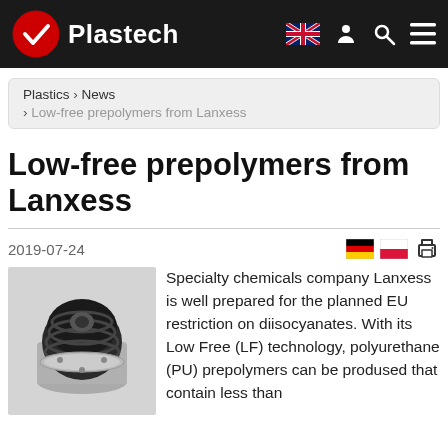Plastech
Plastics > News > Low-free prepolymers from Lanxess
Low-free prepolymers from Lanxess
2019-07-24
[Figure (photo): Industrial rubber coupling component — black rubber bellows attached to a silver metallic housing, viewed from the side]
Specialty chemicals company Lanxess is well prepared for the planned EU restriction on diisocyanates. With its Low Free (LF) technology, polyurethane (PU) prepolymers can be produced that contain less than